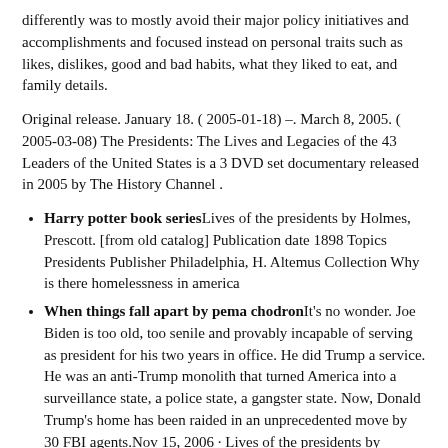differently was to mostly avoid their major policy initiatives and accomplishments and focused instead on personal traits such as likes, dislikes, good and bad habits, what they liked to eat, and family details.
Original release. January 18. ( 2005-01-18) –. March 8, 2005. ( 2005-03-08) The Presidents: The Lives and Legacies of the 43 Leaders of the United States is a 3 DVD set documentary released in 2005 by The History Channel .
Harry potter book series Lives of the presidents by Holmes, Prescott. [from old catalog] Publication date 1898 Topics Presidents Publisher Philadelphia, H. Altemus Collection Why is there homelessness in america
When things fall apart by pema chodron It's no wonder. Joe Biden is too old, too senile and provably incapable of serving as president for his two years in office. He did Trump a service. He was an anti-Trump monolith that turned America into a surveillance state, a police state, a gangster state. Now, Donald Trump's home has been raided in an unprecedented move by 30 FBI agents.Nov 15, 2006 · Lives of the presidents by Holmes, Prescott. Publication date 1898 Topics Presidents -- United States Publisher Philadelphia : H. Altemus Collection cdl; americana Lives of the Presidents of the United States. Hardcover - May 1, 2010. There are